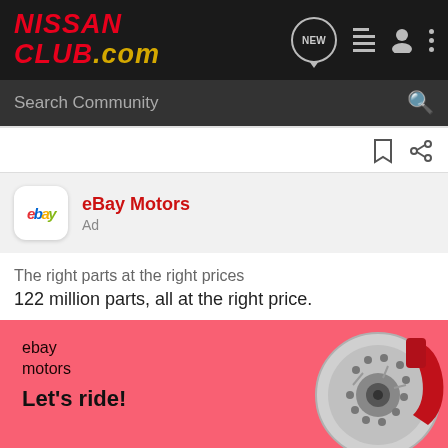[Figure (logo): NissanClub.com logo in red italic bold text on dark background, top navigation bar with NEW speech bubble icon, list icon, person icon, and three-dot menu icon]
[Figure (screenshot): Search Community search bar on dark grey background with magnifying glass icon]
[Figure (illustration): Bookmark and share icons on white background]
[Figure (logo): eBay Motors ad card with eBay logo in multicolor italic text, showing eBay Motors title in red and Ad label]
The right parts at the right prices
122 million parts, all at the right price.
[Figure (illustration): eBay Motors promotional banner with coral/pink background showing brake disc and red caliper, text reads 'ebay motors' and 'Let's ride!']